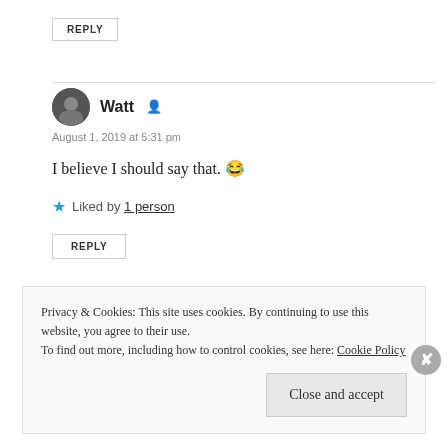REPLY
[Figure (photo): Circular avatar photo of user Watt, black and white portrait]
Watt
August 1, 2019 at 5:31 pm
I believe I should say that. 😂
Liked by 1 person
REPLY
Privacy & Cookies: This site uses cookies. By continuing to use this website, you agree to their use.
To find out more, including how to control cookies, see here: Cookie Policy
Close and accept